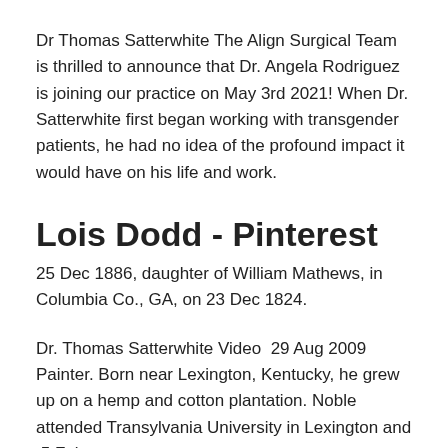Dr Thomas Satterwhite The Align Surgical Team is thrilled to announce that Dr. Angela Rodriguez is joining our practice on May 3rd 2021! When Dr. Satterwhite first began working with transgender patients, he had no idea of the profound impact it would have on his life and work.
Lois Dodd - Pinterest
25 Dec 1886, daughter of William Mathews, in Columbia Co., GA, on 23 Dec 1824.
Dr. Thomas Satterwhite Video  29 Aug 2009 Painter. Born near Lexington, Kentucky, he grew up on a hemp and cotton plantation. Noble attended Transylvania University in Lexington and  5 Feb